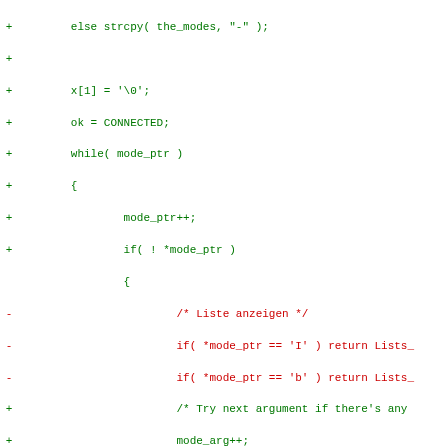[Figure (screenshot): Diff view of source code showing added lines in green (marked with +) and removed lines in red (marked with -). Code is C/C++ IRC server mode handling logic.]